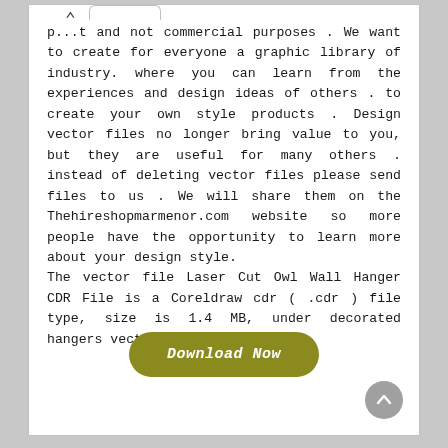p...t and not commercial purposes . We want to create for everyone a graphic library of industry. where you can learn from the experiences and design ideas of others . to create your own style products . Design vector files no longer bring value to you, but they are useful for many others . instead of deleting vector files please send files to us . We will share them on the Thehireshopmarmenor.com website so more people have the opportunity to learn more about your design style.
The vector file Laser Cut Owl Wall Hanger CDR File is a Coreldraw cdr ( .cdr ) file type, size is 1.4 MB, under decorated hangers vectors.
[Figure (other): Download Now button — olive/dark yellow rounded rectangle button with italic bold white text]